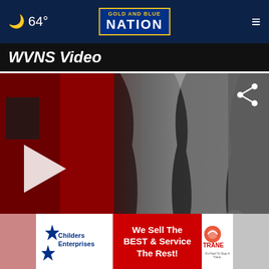64° GOLD AND BLUE NATION
WVNS Video
[Figure (screenshot): Video thumbnail showing a dark interior scene with red wall/door and dark curtains; a white play button triangle is visible at lower left, a share icon at upper right, and a close (X) button at lower right]
[Figure (photo): Childers Enterprises advertisement banner: left section shows Childers Enterprises logo with blue star, middle red section reads 'We Sell The BEST & Service The Rest!', right white section shows Trane logo with text 'It's Hard To Stop A Trane.']